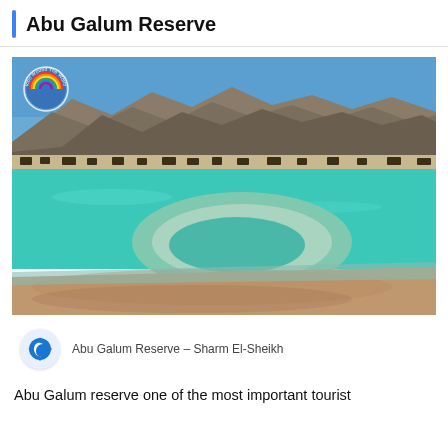Abu Galum Reserve
[Figure (photo): Scenic photo of Abu Galum Reserve showing turquoise lagoon water, sandy shore with tidal pool patterns, and rocky mountains in the background under a blue sky. A rainbow globe watermark logo is visible in the top-left corner.]
Abu Galum Reserve - Sharm El-Sheikh
Abu Galum reserve one of the most important tourist